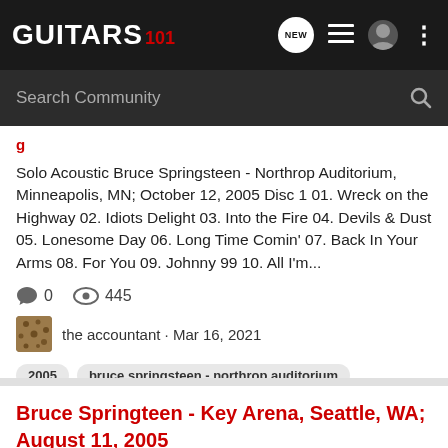GUITARS 101
Search Community
Solo Acoustic Bruce Springsteen - Northrop Auditorium, Minneapolis, MN; October 12, 2005 Disc 1 01. Wreck on the Highway 02. Idiots Delight 03. Into the Fire 04. Devils & Dust 05. Lonesome Day 06. Long Time Comin' 07. Back In Your Arms 08. For You 09. Johnny 99 10. All I'm...
0    445
the accountant · Mar 16, 2021
2005
bruce springsteen - northrop auditorium
minneapolis
mn; october 12
Bruce Springteen - Key Arena, Seattle, WA; August 11, 2005